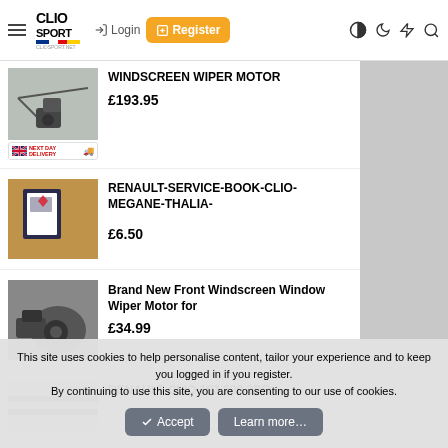CLIO SPORT — Login | Register
[Figure (photo): Windscreen wiper motor product photo with UK next day delivery badge]
WINDSCREEN WIPER MOTOR
£193.95
[Figure (photo): Renault service book product photo]
RENAULT-SERVICE-BOOK-CLIO-MEGANE-THALIA-
£6.50
[Figure (photo): Brand New Front Windscreen Window Wiper Motor product photo]
Brand New Front Windscreen Window Wiper Motor for
£34.99
[Figure (photo): Renault Clio 197 200 3DR product photo (partially visible)]
RENAULT CLIO 197 200 3DR
This site uses cookies to help personalise content, tailor your experience and to keep you logged in if you register. By continuing to use this site, you are consenting to our use of cookies.